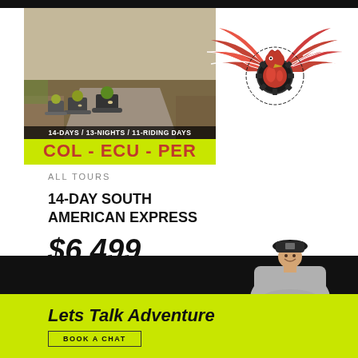[Figure (photo): Motorcycle tour group riding on a dirt/gravel mountain road, multiple riders in adventure gear on adventure bikes]
[Figure (logo): Red eagle/phoenix with spread wings over a globe and gear wheel, with American flag stripe pattern on wings — company logo for a motorcycle tour company]
14-DAYS / 13-NIGHTS / 11-RIDING DAYS
COL - ECU - PER
ALL TOURS
14-DAY SOUTH AMERICAN EXPRESS
$6,499
[Figure (photo): Young man in baseball cap and grey polo shirt standing with arms crossed, smiling]
Lets Talk Adventure
BOOK A CHAT